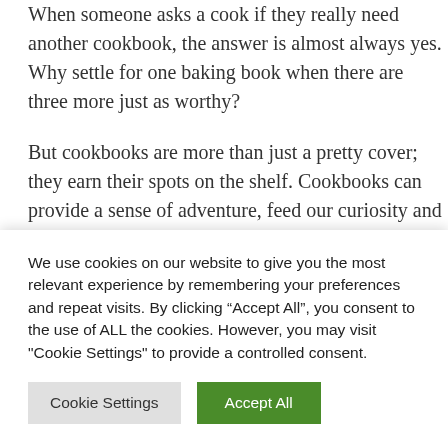When someone asks a cook if they really need another cookbook, the answer is almost always yes. Why settle for one baking book when there are three more just as worthy?
But cookbooks are more than just a pretty cover; they earn their spots on the shelf. Cookbooks can provide a sense of adventure, feed our curiosity and educate us, no matter how long we've been in the kitchen. They introduce us to new cuisines, encourage us to shop at unfamiliar markets, and present food from all while...
We use cookies on our website to give you the most relevant experience by remembering your preferences and repeat visits. By clicking “Accept All”, you consent to the use of ALL the cookies. However, you may visit "Cookie Settings" to provide a controlled consent.